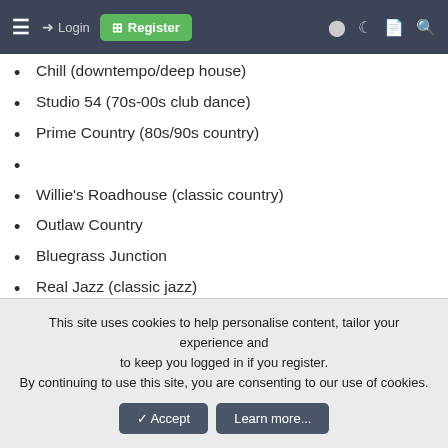≡  → Login  ⊞ Register  ◑  ☾  ☰  🔍
Chill (downtempo/deep house)
Studio 54 (70s-00s club dance)
Prime Country (80s/90s country)
Willie's Roadhouse (classic country)
Outlaw Country
Bluegrass Junction
Real Jazz (classic jazz)
Sinatra (standards by Sinatra and others)
On Broadway (show tunes)
Bluesville
Symphony Hall (classical)
The covers channel
This site uses cookies to help personalise content, tailor your experience and to keep you logged in if you register.
By continuing to use this site, you are consenting to our use of cookies.